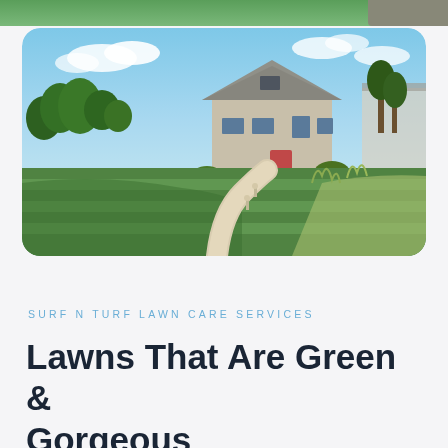[Figure (photo): Aerial/eye-level view of a well-manicured lawn with stripe mowing patterns, a curved concrete pathway leading to a modern residential house with a grey hip roof, surrounded by ornamental garden shrubs and trees, blue sky with clouds in background.]
SURF N TURF LAWN CARE SERVICES
Lawns That Are Green & Gorgeous